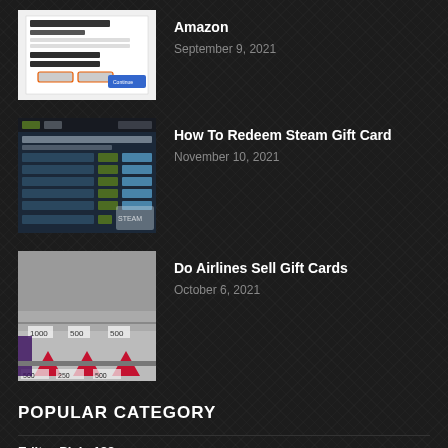[Figure (screenshot): Amazon payment information screenshot showing payment method update dialog with blue button]
Amazon
September 9, 2021
[Figure (screenshot): Steam gift card redemption page showing various dollar amount options with Add and Buy buttons]
How To Redeem Steam Gift Card
November 10, 2021
[Figure (photo): Delta Airlines gift cards displayed in a retail store with red Delta logos visible]
Do Airlines Sell Gift Cards
October 6, 2021
POPULAR CATEGORY
Editor Picks182
Exclusive181